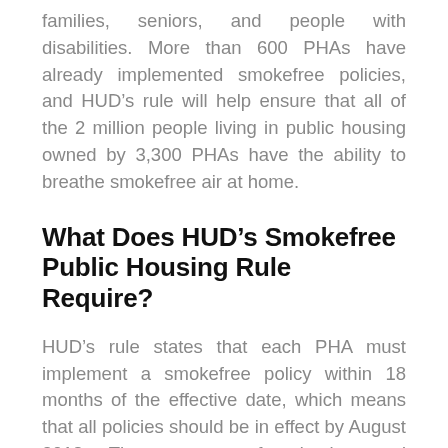families, seniors, and people with disabilities. More than 600 PHAs have already implemented smokefree policies, and HUD’s rule will help ensure that all of the 2 million people living in public housing owned by 3,300 PHAs have the ability to breathe smokefree air at home.
What Does HUD’s Smokefree Public Housing Rule Require?
HUD’s rule states that each PHA must implement a smokefree policy within 18 months of the effective date, which means that all policies should be in effect by August 2018. The process of adopting and implementing a smokefree policy should be planned thoughtfully and time should be taken to educate and build support among both building managers and residents.